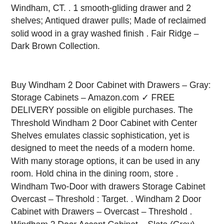Windham, CT. . 1 smooth-gliding drawer and 2 shelves; Antiqued drawer pulls; Made of reclaimed solid wood in a gray washed finish . Fair Ridge – Dark Brown Collection.
Buy Windham 2 Door Cabinet with Drawers – Gray: Storage Cabinets – Amazon.com ✓ FREE DELIVERY possible on eligible purchases. The Threshold Windham 2 Door Cabinet with Center Shelves emulates classic sophistication, yet is designed to meet the needs of a modern home. With many storage options, it can be used in any room. Hold china in the dining room, store . Windham Two-Door with drawers Storage Cabinet Overcast – Threshold : Target. . Windham 2 Door Cabinet with Drawers – Overcast – Threshold . Windham 2 Door Accent Cabinet – Slate (Grey) – Threshold Double